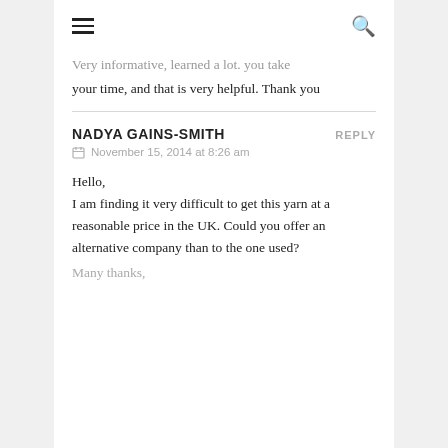≡  🔍
Very informative, learned a lot. you take your time, and that is very helpful. Thank you
NADYA GAINS-SMITH   REPLY
November 15, 2014 at 8:26 am

Hello,
I am finding it very difficult to get this yarn at a reasonable price in the UK. Could you offer an alternative company than to the one used?
Many thanks,